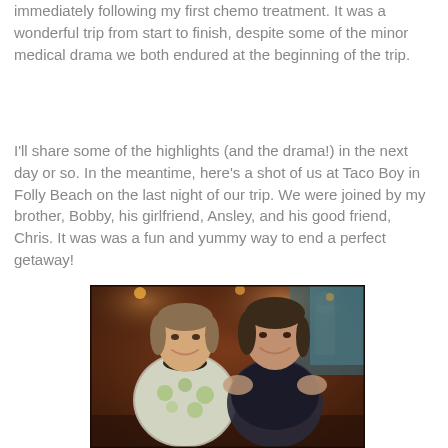immediately following my first chemo treatment. It was a wonderful trip from start to finish, despite some of the minor medical drama we both endured at the beginning of the trip.
I'll share some of the highlights (and the drama!) in the next day or so. In the meantime, here's a shot of us at Taco Boy in Folly Beach on the last night of our trip. We were joined by my brother, Bobby, his girlfriend, Ansley, and his good friend, Chris. It was was a fun and yummy way to end a perfect getaway!
[Figure (photo): Two women smiling together at Taco Boy restaurant in Folly Beach. The woman on the left wears a floral patterned top; the woman on the right wears a dark strapless top. Warm amber restaurant lighting in the background.]